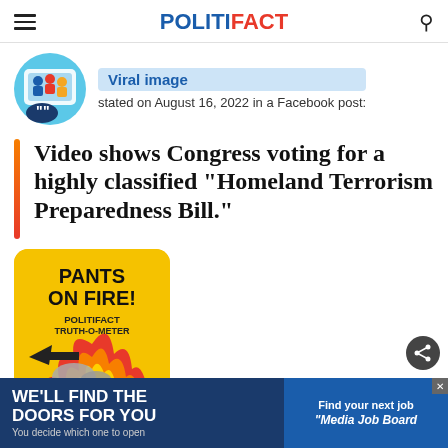POLITIFACT
Viral image
stated on August 16, 2022 in a Facebook post:
Video shows Congress voting for a highly classified “Homeland Terrorism Preparedness Bill.”
[Figure (illustration): Pants on Fire! PolitiFact Truth-O-Meter badge with flames]
By Cia…
[Figure (other): Advertisement: WE'LL FIND THE DOORS FOR YOU - You decide which one to open]
[Figure (other): Advertisement: Find your next job - Media Job Board]